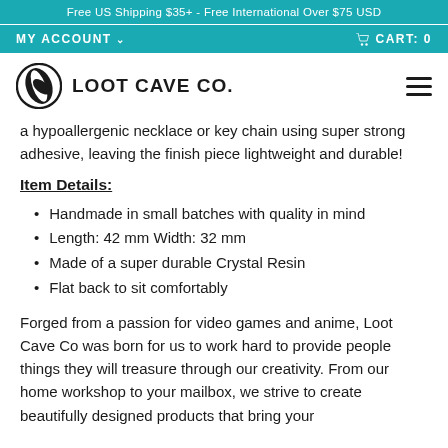Free US Shipping $35+ - Free International Over $75 USD
MY ACCOUNT ∨   🛒 CART: 0
[Figure (logo): Loot Cave Co. logo with circular leaf/feather icon and bold uppercase text]
a hypoallergenic necklace or key chain using super strong adhesive, leaving the finish piece lightweight and durable!
Item Details:
Handmade in small batches with quality in mind
Length: 42 mm Width: 32 mm
Made of a super durable Crystal Resin
Flat back to sit comfortably
Forged from a passion for video games and anime, Loot Cave Co was born for us to work hard to provide people things they will treasure through our creativity. From our home workshop to your mailbox, we strive to create beautifully designed products that bring your favorite video game characters to life